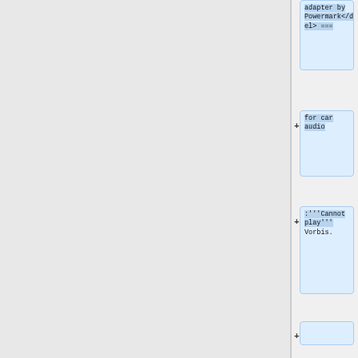adapter by Powermark</del> ===
+ for car audio
+ :'''Cannot play''' Vorbis.
+
+ == Car Audio - Archive (may be available second hand) ==
+
=== [http://www.